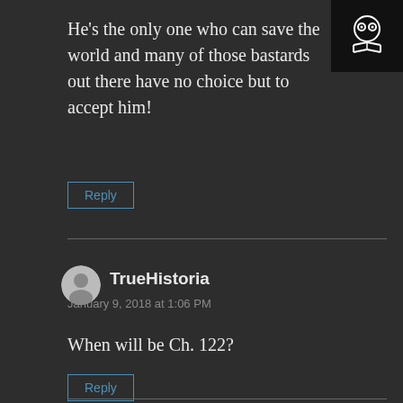[Figure (logo): Black box with owl/face icon and open book symbol in white]
He’s the only one who can save the world and many of those bastards out there have no choice but to accept him!
Reply
TrueHistoria
January 9, 2018 at 1:06 PM
When will be Ch. 122?
Reply